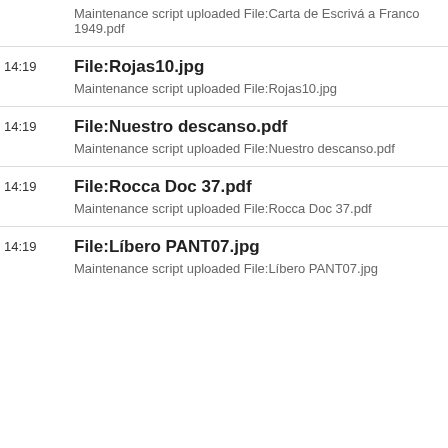Maintenance script uploaded File:Carta de Escrivá a Franco 1949.pdf
14:19 File:Rojas10.jpg
Maintenance script uploaded File:Rojas10.jpg
14:19 File:Nuestro descanso.pdf
Maintenance script uploaded File:Nuestro descanso.pdf
14:19 File:Rocca Doc 37.pdf
Maintenance script uploaded File:Rocca Doc 37.pdf
14:19 File:Líbero PANT07.jpg
Maintenance script uploaded File:Líbero PANT07.jpg